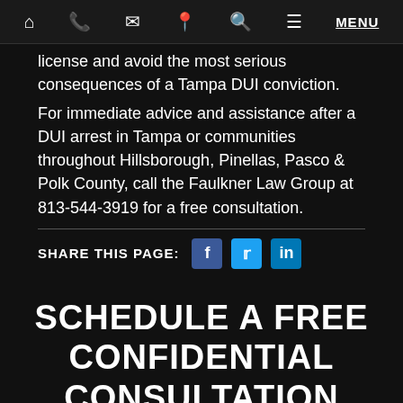Home | Phone | Email | Location | Search | Menu
license and avoid the most serious consequences of a Tampa DUI conviction.
For immediate advice and assistance after a DUI arrest in Tampa or communities throughout Hillsborough, Pinellas, Pasco & Polk County, call the Faulkner Law Group at 813-544-3919 for a free consultation.
SHARE THIS PAGE:
SCHEDULE A FREE CONFIDENTIAL CONSULTATION